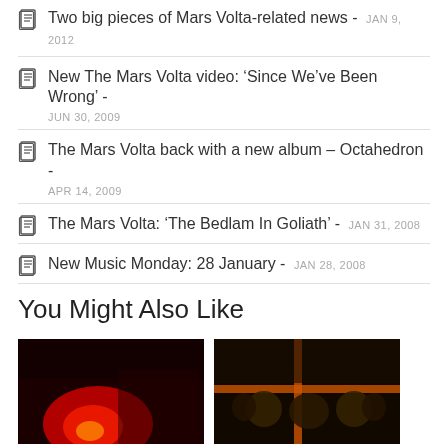Two big pieces of Mars Volta-related news - JAN 9, 2012
New The Mars Volta video: ‘Since We’ve Been Wrong’ - JUN 30, 2009
The Mars Volta back with a new album – Octahedron - APR 14, 2009
The Mars Volta: ‘The Bedlam In Goliath’ - JAN 31, 2008
New Music Monday: 28 January - JAN 28, 2008
You Might Also Like
[Figure (photo): Red-toned concert/event photo on left]
[Figure (photo): Dark image with people and orange/red cross light on right]